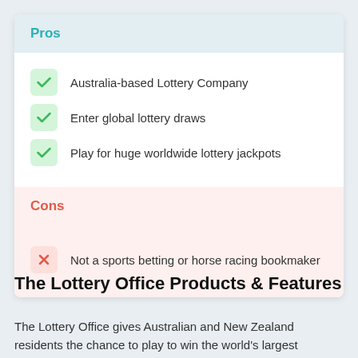Pros
Australia-based Lottery Company
Enter global lottery draws
Play for huge worldwide lottery jackpots
Cons
Not a sports betting or horse racing bookmaker
The Lottery Office Products & Features
The Lottery Office gives Australian and New Zealand residents the chance to play to win the world's largest